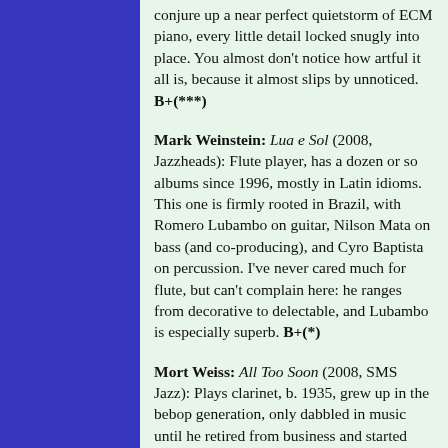[Figure (other): Blue sidebar panel on left side of page]
conjure up a near perfect quietstorm of ECM piano, every little detail locked snugly into place. You almost don't notice how artful it all is, because it almost slips by unnoticed. B+(***)
Mark Weinstein: Lua e Sol (2008, Jazzheads): Flute player, has a dozen or so albums since 1996, mostly in Latin idioms. This one is firmly rooted in Brazil, with Romero Lubambo on guitar, Nilson Mata on bass (and co-producing), and Cyro Baptista on percussion. I've never cared much for flute, but can't complain here: he ranges from decorative to delectable, and Lubambo is especially superb. B+(*)
Mort Weiss: All Too Soon (2008, SMS Jazz): Plays clarinet, b. 1935, grew up in the bebop generation, only dabbled in music until he retired from business and started issuing his own records. This is a duo with seven-string guitarist Ron Eschete, probably a better known player, although the album cover doesn't attempt